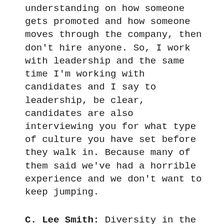understanding on how someone gets promoted and how someone moves through the company, then don't hire anyone. So, I work with leadership and the same time I'm working with candidates and I say to leadership, be clear, candidates are also interviewing you for what type of culture you have set before they walk in. Because many of them said we've had a horrible experience and we don't want to keep jumping.
C. Lee Smith: Diversity in the workplace without inclusion in the workplace just doesn't work.
Leslie Short: Does not work. And that's whether you are in Europe or in Asia or you're in the United States. And it's not belonging, let's be clear on that. And if you hear me say, this is the one I'm going to get a t-shirt that says this, no one can tell you, you belong. A book belongs